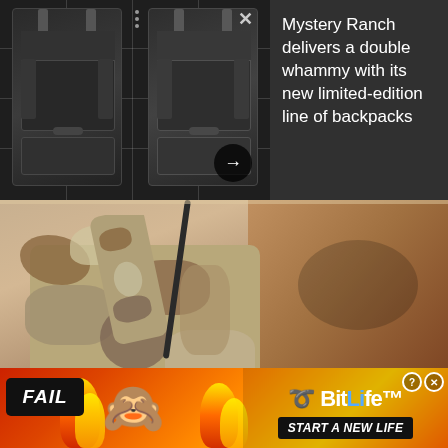[Figure (photo): Two dark tactical/military backpacks side by side displayed on a rack against a dark gray background, with an X close button and navigation arrow]
Mystery Ranch delivers a double whammy with its new limited-edition line of backpacks
[Figure (photo): US Marine Corps soldier in camouflage uniform viewed from behind, reaching upward holding a cable or wire, with rocky terrain in background]
U.S. Marine Corps Cpl. Lisa Tourtelot, combat correspondent with Marine Wing Headquarters Squadron 3, interviews Marine Corps Sgt. Joshua Wentzel, a heavy equipment operator with Marine Wing Support Squadron 273, at Combat Outpost Parselay, Helmand province, Afghanistan, in 2012. Wentzel
[Figure (advertisement): BitLife game advertisement with FAIL text, emoji characters, flame icons, sperm icon logo, BitLife branding text, and START A NEW LIFE tagline on orange/red background]